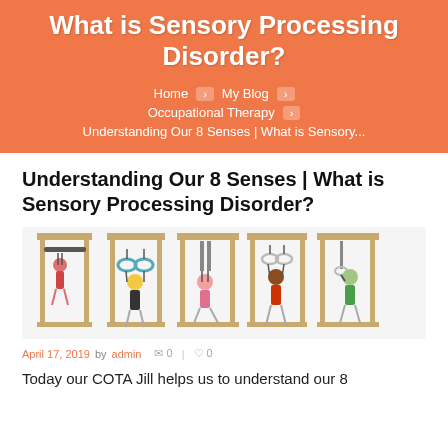What is Sensory Processing Disorder?
Home > My Blog > Occupational Therapy > Understanding Our 8 Senses | What is Sensory...
Understanding Our 8 Senses | What is Sensory Processing Disorder?
[Figure (photo): Five children on wooden gym frames with hanging bars and rings, each using different apparatus for sensory play]
April 17, 2019 by admin   0  |  0
Today our COTA Jill helps us to understand our 8